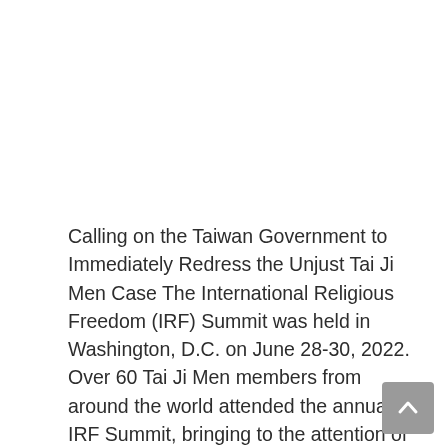Calling on the Taiwan Government to Immediately Redress the Unjust Tai Ji Men Case The International Religious Freedom (IRF) Summit was held in Washington, D.C. on June 28-30, 2022. Over 60 Tai Ji Men members from around the world attended the annual IRF Summit, bringing to the attention of the international community the persecution against … Read more